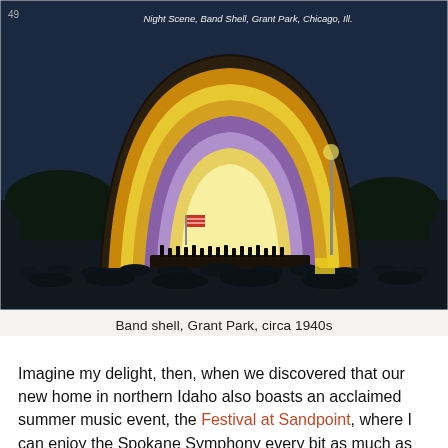[Figure (photo): Vintage postcard-style photograph of the Band Shell at Grant Park, Chicago, at night. The illuminated shell structure glows with concentric arcs in gold, yellow, purple and orange. A large crowd fills the foreground. Caption on image reads: Night Scene, Band Shell, Grant Park, Chicago, Ill.]
Band shell, Grant Park, circa 1940s
Imagine my delight, then, when we discovered that our new home in northern Idaho also boasts an acclaimed summer music event, the Festival at Sandpoint, where I can enjoy the Spokane Symphony every bit as much as the CSO, minus the huge crowds that Ravinia draws. And so I continue to spend several summer evenings–you guessed it–lying on a blanket under the stars, beautiful music in mind...